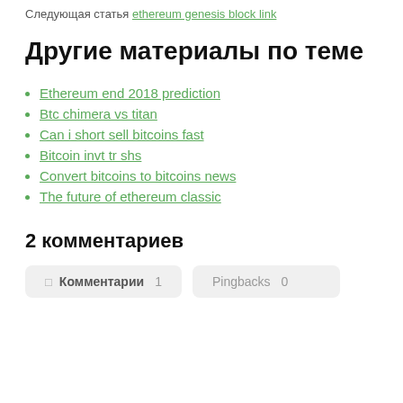Следующая статья ethereum genesis block link
Другие материалы по теме
Ethereum end 2018 prediction
Btc chimera vs titan
Can i short sell bitcoins fast
Bitcoin invt tr shs
Convert bitcoins to bitcoins news
The future of ethereum classic
2 комментариев
Комментарии 1   Pingbacks 0